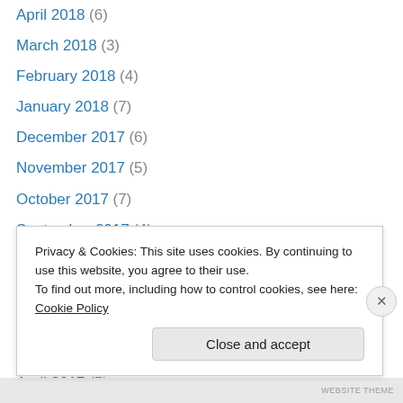April 2018 (6)
March 2018 (3)
February 2018 (4)
January 2018 (7)
December 2017 (6)
November 2017 (5)
October 2017 (7)
September 2017 (4)
August 2017 (4)
July 2017 (8)
June 2017 (6)
May 2017 (5)
April 2017 (5)
Privacy & Cookies: This site uses cookies. By continuing to use this website, you agree to their use.
To find out more, including how to control cookies, see here: Cookie Policy
Close and accept